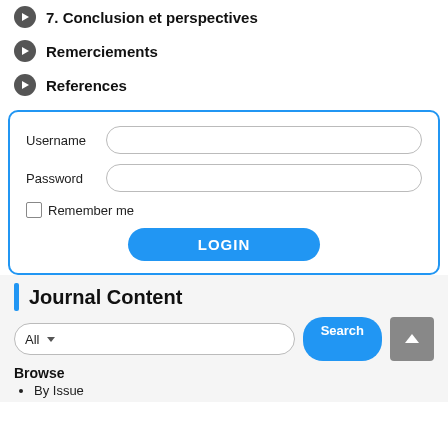7. Conclusion et perspectives
Remerciements
References
[Figure (screenshot): Login form with Username, Password fields, Remember me checkbox, and LOGIN button]
Journal Content
[Figure (screenshot): Search bar with All dropdown and Search button, scroll-to-top button]
Browse
By Issue